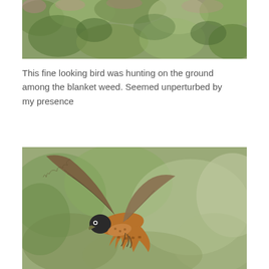[Figure (photo): Close-up photo of green leafy vegetation/blanket weed, muted greens and pinks, top portion of page]
This fine looking bird was hunting on the ground among the blanket weed. Seemed unperturbed by my presence
[Figure (photo): A kestrel or falcon in flight with wings spread wide, brown and grey plumage, against a blurred green background]